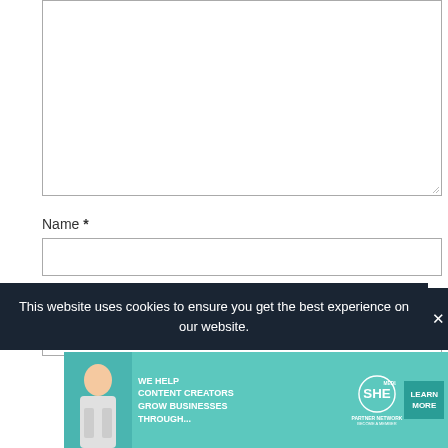[Figure (screenshot): A large empty textarea form field with a resize handle at the bottom right corner]
Name *
[Figure (screenshot): A single-line text input field for Name]
Email *
[Figure (screenshot): A single-line text input field for Email]
This website uses cookies to ensure you get the best experience on our website.
[Figure (screenshot): SHE Partner Network advertisement banner: 'We help content creators grow businesses through...' with a Learn More button]